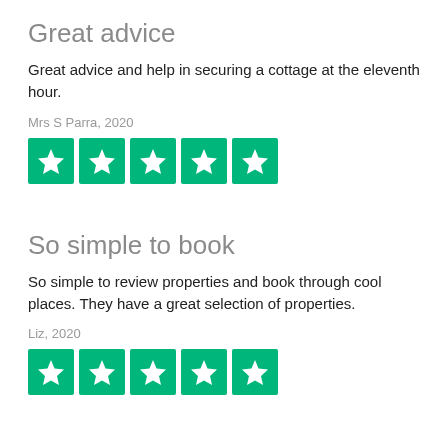Great advice
Great advice and help in securing a cottage at the eleventh hour.
Mrs S Parra, 2020
[Figure (other): Five green Trustpilot star rating boxes with white stars]
So simple to book
So simple to review properties and book through cool places. They have a great selection of properties.
Liz, 2020
[Figure (other): Five green Trustpilot star rating boxes with white stars]